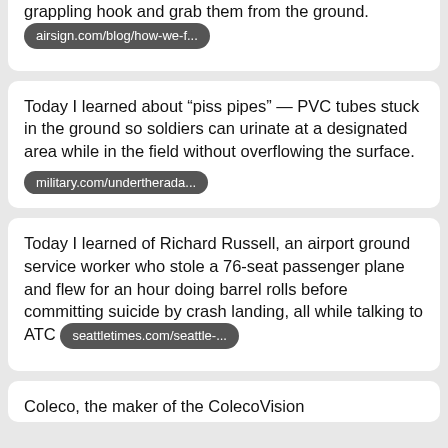grappling hook and grab them from the ground. airsign.com/blog/how-we-f...
Today I learned about “piss pipes” — PVC tubes stuck in the ground so soldiers can urinate at a designated area while in the field without overflowing the surface. military.com/undertherada...
Today I learned of Richard Russell, an airport ground service worker who stole a 76-seat passenger plane and flew for an hour doing barrel rolls before committing suicide by crash landing, all while talking to ATC seattletimes.com/seattle-...
Coleco, the maker of the ColecoVision